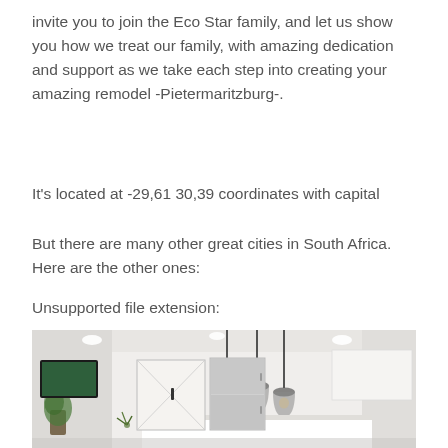invite you to join the Eco Star family, and let us show you how we treat our family, with amazing dedication and support as we take each step into creating your amazing remodel -Pietermaritzburg-.
It's located at -29,61 30,39 coordinates with capital
But there are many other great cities in South Africa. Here are the other ones:
Unsupported file extension:
[Figure (photo): Interior photo of a modern white kitchen with three pendant lights hanging from the ceiling, white cabinets, a stainless steel refrigerator, a barn-style sliding door, and plants.]